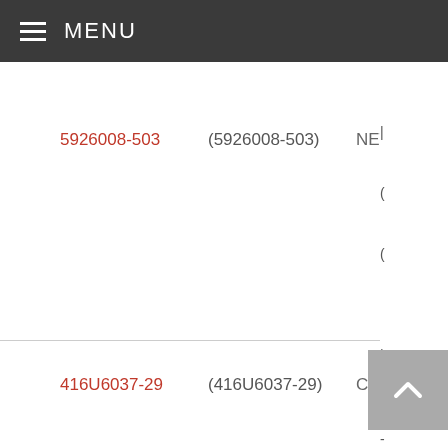MENU
5926008-503   (5926008-503)   NET ASSY
416U6037-29   (416U6037-29)   CORD